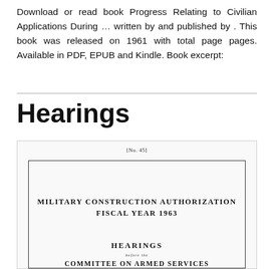Download or read book Progress Relating to Civilian Applications During … written by and published by . This book was released on 1961 with total page pages. Available in PDF, EPUB and Kindle. Book excerpt:
Hearings
[Figure (illustration): Scanned cover page of a government document. Header reads '[No. 45]'. Inside a bordered rectangle: 'MILITARY CONSTRUCTION AUTHORIZATION FISCAL YEAR 1963' followed by a horizontal rule, then 'HEARINGS' and 'BEFORE THE' and 'COMMITTEE ON ARMED SERVICES' and 'HOUSE OF REPRESENTATIVES'.]